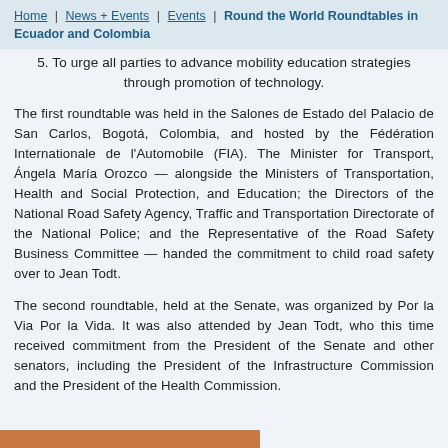Home | News + Events | Events | Round the World Roundtables in Ecuador and Colombia
5. To urge all parties to advance mobility education strategies through promotion of technology.
The first roundtable was held in the Salones de Estado del Palacio de San Carlos, Bogotá, Colombia, and hosted by the Fédération Internationale de l'Automobile (FIA). The Minister for Transport, Ángela María Orozco — alongside the Ministers of Transportation, Health and Social Protection, and Education; the Directors of the National Road Safety Agency, Traffic and Transportation Directorate of the National Police; and the Representative of the Road Safety Business Committee — handed the commitment to child road safety over to Jean Todt.
The second roundtable, held at the Senate, was organized by Por la Via Por la Vida. It was also attended by Jean Todt, who this time received commitment from the President of the Senate and other senators, including the President of the Infrastructure Commission and the President of the Health Commission.
[Figure (photo): Partial image of a photo visible at the bottom of the page, showing an orange/brown strip]